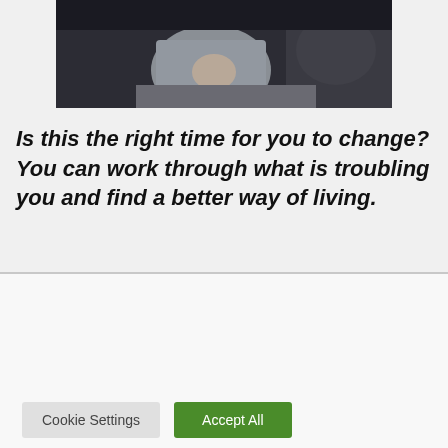[Figure (photo): Partial photo of a person seated on a dark couch, with a pet (dog or cat) visible beside them. Person is wearing light gray clothing.]
Is this the right time for you to change? You can work through what is troubling you and find a better way of living.
We use cookies on our website to give you the most relevant experience by remembering your preferences and repeat visits. By clicking "Accept All", you consent to the use of ALL the cookies. However, you may visit "Cookie Settings" to provide a controlled consent.